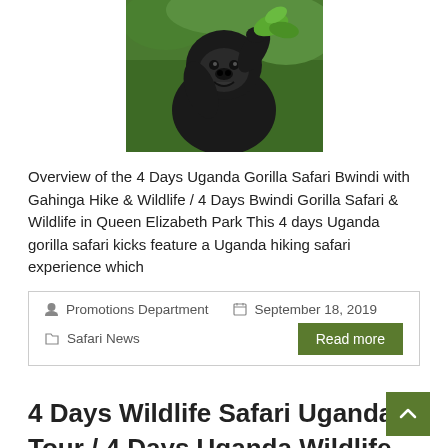[Figure (photo): A gorilla holding green foliage, photographed in a jungle setting]
Overview of the 4 Days Uganda Gorilla Safari Bwindi with Gahinga Hike & Wildlife / 4 Days Bwindi Gorilla Safari & Wildlife in Queen Elizabeth Park This 4 days Uganda gorilla safari kicks feature a Uganda hiking safari experience which
Promotions Department   September 18, 2019   Safari News   Read more